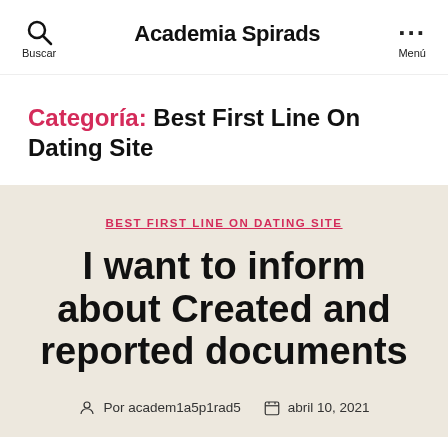Academia Spirads
Categoría: Best First Line On Dating Site
BEST FIRST LINE ON DATING SITE
I want to inform about Created and reported documents
Por academ1a5p1rad5   abril 10, 2021